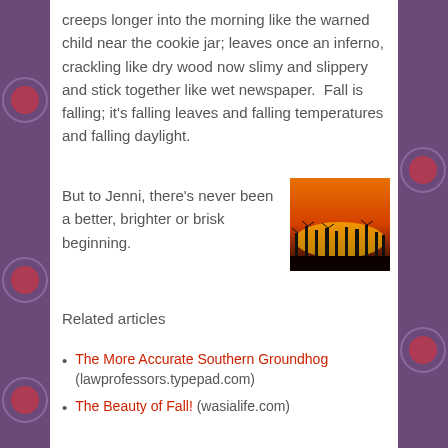creeps longer into the morning like the warned child near the cookie jar; leaves once an inferno, crackling like dry wood now slimy and slippery and stick together like wet newspaper.  Fall is falling; it's falling leaves and falling temperatures and falling daylight.
But to Jenni, there's never been a better, brighter or brisk beginning.
[Figure (photo): A dramatic sunset photo showing silhouettes of bare trees against a vivid orange and red sky]
Related articles
The More Accurate Southern Groundhog (lawprofessors.typepad.com)
The Beauty of Fall! (wasialife.com)